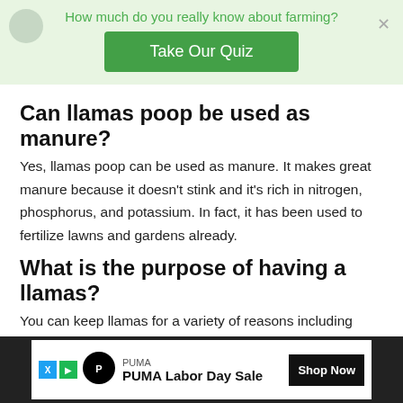How much do you really know about farming?
Can llamas poop be used as manure?
Yes, llamas poop can be used as manure. It makes great manure because it doesn't stink and it's rich in nitrogen, phosphorus, and potassium. In fact, it has been used to fertilize lawns and gardens already.
What is the purpose of having a llamas?
You can keep llamas for a variety of reasons including meat, milk, and wool. They are great to pack animals and an exceptional pet indeed.
Can ll…
No, the…